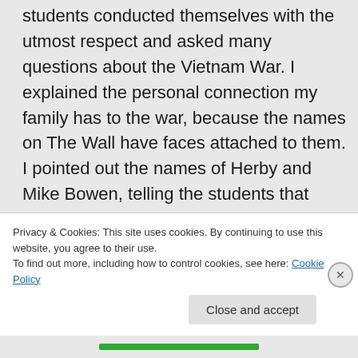students conducted themselves with the utmost respect and asked many questions about the Vietnam War. I explained the personal connection my family has to the war, because the names on The Wall have faces attached to them. I pointed out the names of Herby and Mike Bowen, telling the students that these were young men whom my family knew. I mentioned the enormous losses the
Privacy & Cookies: This site uses cookies. By continuing to use this website, you agree to their use.
To find out more, including how to control cookies, see here: Cookie Policy
Close and accept